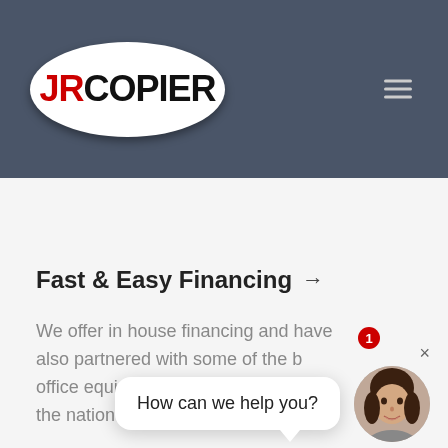[Figure (logo): JR Copier logo: white oval with 'JR' in red and 'COPIER' in black bold text]
Fast & Easy Financing →
We offer in house financing and have also partnered with some of the b office equip lie the nation
[Figure (screenshot): Chat widget popup with text 'How can we help you?' and a female avatar, with a red notification badge showing '1' and an X close button]